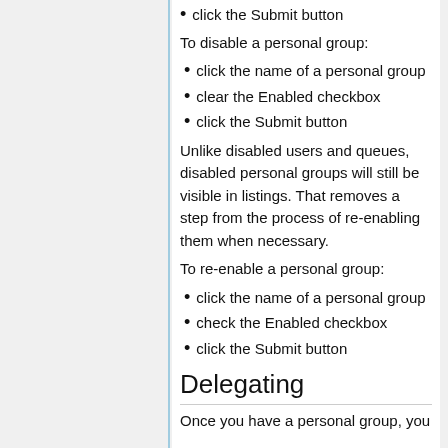click the Submit button
To disable a personal group:
click the name of a personal group
clear the Enabled checkbox
click the Submit button
Unlike disabled users and queues, disabled personal groups will still be visible in listings. That removes a step from the process of re-enabling them when necessary.
To re-enable a personal group:
click the name of a personal group
check the Enabled checkbox
click the Submit button
Delegating
Once you have a personal group, you